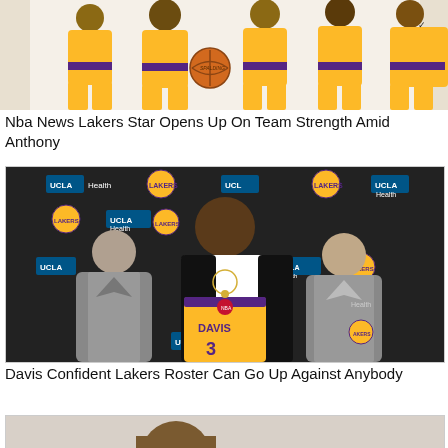[Figure (photo): Lakers players in gold uniforms posing together at media day, one holding a basketball]
Nba News Lakers Star Opens Up On Team Strength Amid Anthony
[Figure (photo): Anthony Davis holding Lakers #3 jersey at press conference with two executives, UCLA Health and Lakers logos in background]
Davis Confident Lakers Roster Can Go Up Against Anybody
[Figure (photo): Partial image of a person at the bottom of the page]